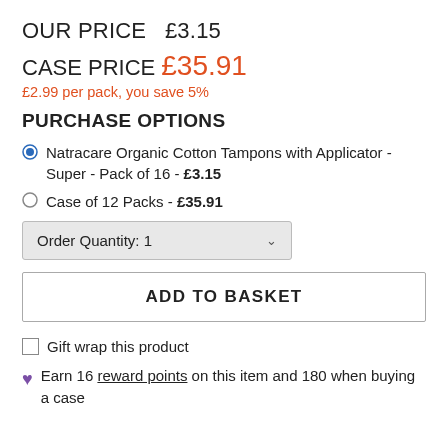OUR PRICE  £3.15
CASE PRICE  £35.91
£2.99 per pack, you save 5%
PURCHASE OPTIONS
Natracare Organic Cotton Tampons with Applicator - Super - Pack of 16 - £3.15
Case of 12 Packs - £35.91
Order Quantity: 1
ADD TO BASKET
Gift wrap this product
Earn 16 reward points on this item and 180 when buying a case